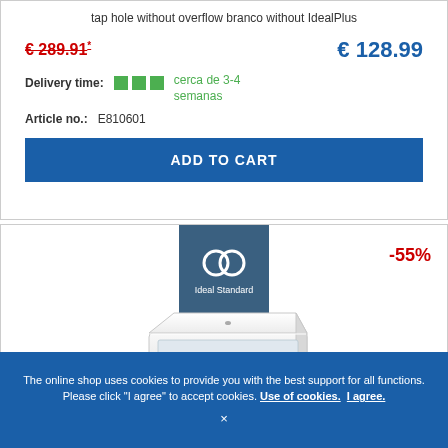tap hole without overflow branco without IdealPlus
€ 289.91* € 128.99
Delivery time: cerca de 3-4 semanas
Article no.: E810601
ADD TO CART
[Figure (logo): Ideal Standard brand logo with interlocking rings on dark blue background]
-55%
[Figure (photo): White ceramic rectangular countertop bathroom basin/sink with a single tap hole, viewed from a slight angle]
The online shop uses cookies to provide you with the best support for all functions. Please click "I agree" to accept cookies. Use of cookies. I agree. ×